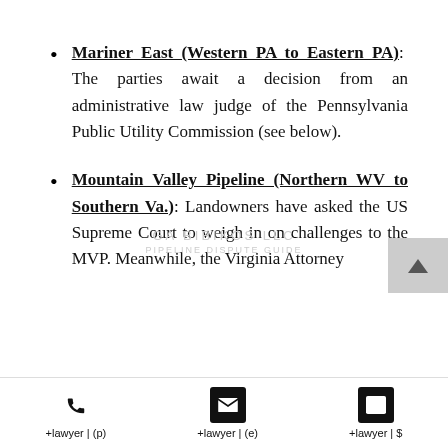Mariner East (Western PA to Eastern PA): The parties await a decision from an administrative law judge of the Pennsylvania Public Utility Commission (see below).
Mountain Valley Pipeline (Northern WV to Southern Va.): Landowners have asked the US Supreme Court to weigh in on challenges to the MVP. Meanwhile, the Virginia Attorney
+lawyer | (p)   +lawyer | (e)   +lawyer | $